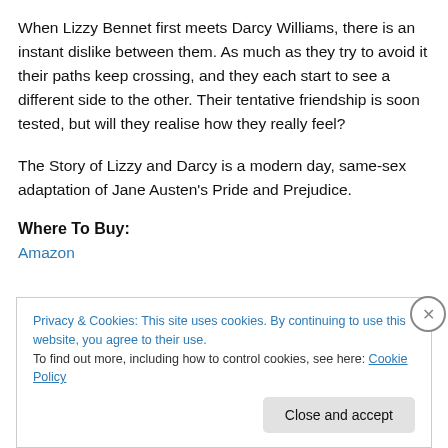When Lizzy Bennet first meets Darcy Williams, there is an instant dislike between them. As much as they try to avoid it their paths keep crossing, and they each start to see a different side to the other. Their tentative friendship is soon tested, but will they realise how they really feel?
The Story of Lizzy and Darcy is a modern day, same-sex adaptation of Jane Austen's Pride and Prejudice.
Where To Buy:
Amazon
Privacy & Cookies: This site uses cookies. By continuing to use this website, you agree to their use.
To find out more, including how to control cookies, see here: Cookie Policy